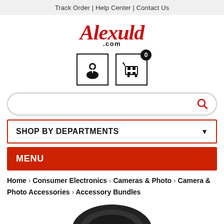Track Order | Help Center | Contact Us
[Figure (logo): Alexuld.com logo in red cursive script with .com below]
[Figure (screenshot): Account icon and shopping cart icon with badge showing 0]
[Figure (screenshot): Search bar with red search icon]
SHOP BY DEPARTMENTS ▼
MENU
Home > Consumer Electronics > Cameras & Photo > Camera & Photo Accessories > Accessory Bundles
[Figure (photo): Top portion of a round dark black camera lens accessory]